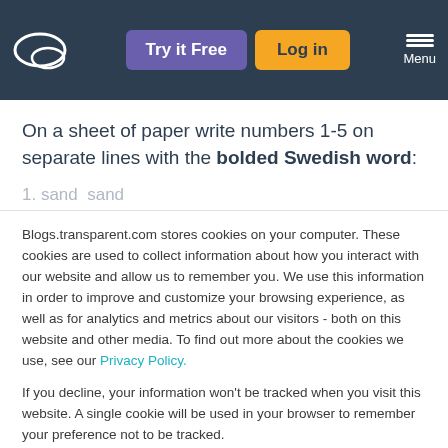Try it Free | Log in | Menu
On a sheet of paper write numbers 1-5 on separate lines with the bolded Swedish word:
1. sand  sand
Blogs.transparent.com stores cookies on your computer. These cookies are used to collect information about how you interact with our website and allow us to remember you. We use this information in order to improve and customize your browsing experience, as well as for analytics and metrics about our visitors - both on this website and other media. To find out more about the cookies we use, see our Privacy Policy.
If you decline, your information won't be tracked when you visit this website. A single cookie will be used in your browser to remember your preference not to be tracked.